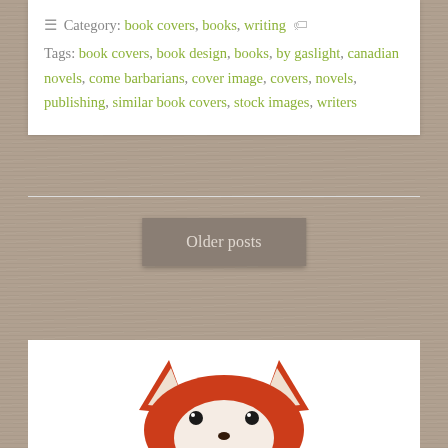≡ Category: book covers, books, writing 🏷
Tags: book covers, book design, books, by gaslight, canadian novels, come barbarians, cover image, covers, novels, publishing, similar book covers, stock images, writers
Older posts
[Figure (illustration): Cartoon fox illustration showing the top half of a red and white fox face with ears, eyes and nose visible, partially cropped at the bottom of the page]